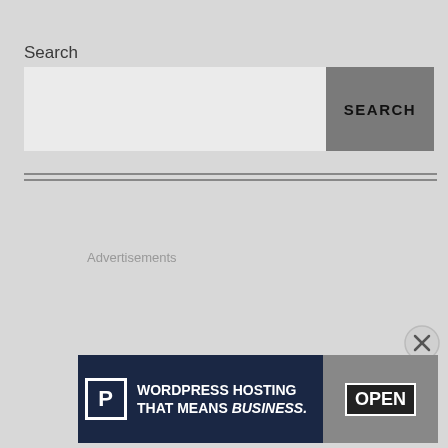Search
[Figure (screenshot): Search input field with a gray SEARCH button on the right]
[Figure (other): Horizontal double-line divider]
Advertisements
[Figure (other): Close button (X circle) in bottom right area]
Advertisements
[Figure (infographic): Ad banner: WordPress hosting that means business, with P icon and OPEN sign photo]